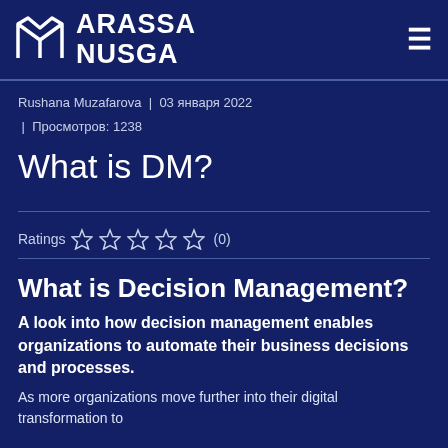ARASSA NUSGA
Rushana Muzafarova | 03 января 2022 | Просмотров: 1238
What is DM?
Ratings ☆☆☆☆☆ (0)
What is Decision Management?
A look into how decision management enables organizations to automate their business decisions and processes.
As more organizations move further into their digital transformation to